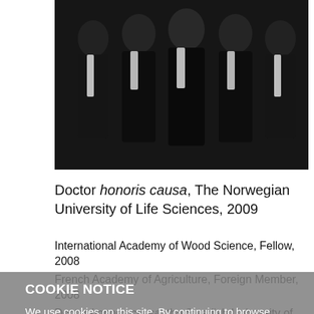[Figure (photo): Group photo of several people in formal black tie attire (tuxedos/tailcoats) standing together]
Doctor honoris causa, The Norwegian University of Life Sciences, 2009
International Academy of Wood Science, Fellow, 2008
French Academy of Agriculture, Foreign Member, 2008
Doctor honoris causa, the Swedish University of Agricultural Sciences, 2005
COOKIE NOTICE
We use cookies on this site. By continuing to browse without changing your browser settings to block or delete cookies, you agree to the UW–Madison Privacy Notice.
GOT IT!